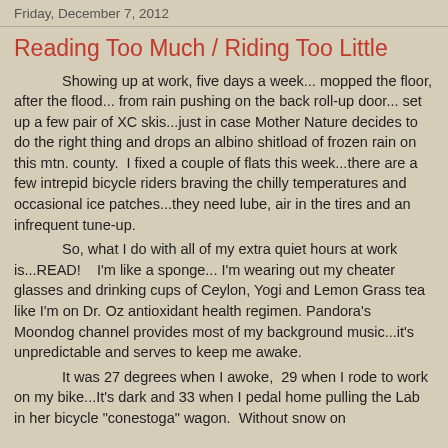Friday, December 7, 2012
Reading Too Much / Riding Too Little
Showing up at work, five days a week... mopped the floor, after the flood... from rain pushing on the back roll-up door... set up a few pair of XC skis...just in case Mother Nature decides to do the right thing and drops an albino shitload of frozen rain on this mtn. county.  I fixed a couple of flats this week...there are a few intrepid bicycle riders braving the chilly temperatures and occasional ice patches...they need lube, air in the tires and an infrequent tune-up.
So, what I do with all of my extra quiet hours at work is...READ!   I'm like a sponge... I'm wearing out my cheater glasses and drinking cups of Ceylon, Yogi and Lemon Grass tea like I'm on Dr. Oz antioxidant health regimen. Pandora's Moondog channel provides most of my background music...it's unpredictable and serves to keep me awake.
It was 27 degrees when I awoke,  29 when I rode to work on my bike...It's dark and 33 when I pedal home pulling the Lab in her bicycle "conestoga" wagon.  Without snow on